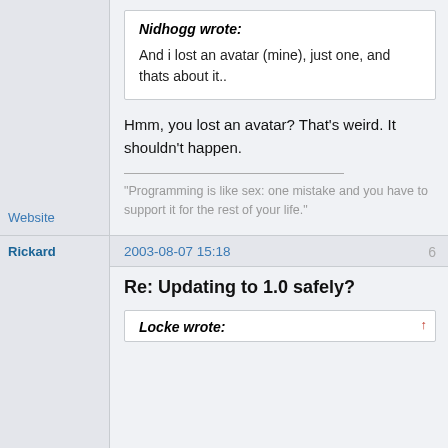Nidhogg wrote:
And i lost an avatar (mine), just one, and thats about it..
Hmm, you lost an avatar? That's weird. It shouldn't happen.
"Programming is like sex: one mistake and you have to support it for the rest of your life."
Website
Rickard
2003-08-07 15:18
6
Re: Updating to 1.0 safely?
Locke wrote: